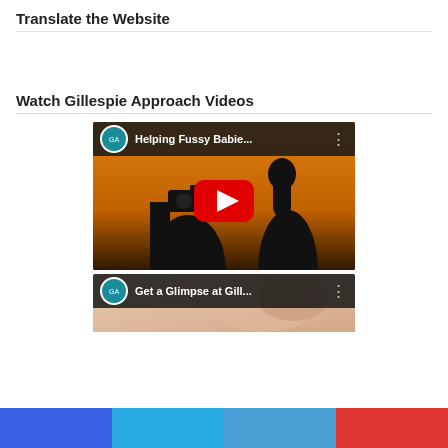Translate the Website
Watch Gillespie Approach Videos
[Figure (screenshot): YouTube video thumbnail for 'Helping Fussy Babie...' with Gillespie Approach logo, red play button, and silhouette of person with camera against orange background]
[Figure (screenshot): YouTube video thumbnail for 'Get a Glimpse at Gill...' with Gillespie Approach logo, partial view of video content]
[Figure (infographic): Footer bar with four colored sections: dark blue, light blue, medium blue, and red]